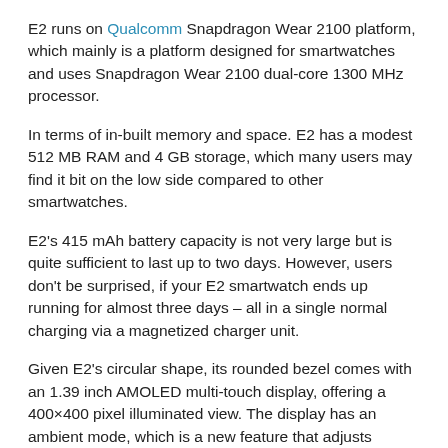E2 runs on Qualcomm Snapdragon Wear 2100 platform, which mainly is a platform designed for smartwatches and uses Snapdragon Wear 2100 dual-core 1300 MHz processor.
In terms of in-built memory and space. E2 has a modest 512 MB RAM and 4 GB storage, which many users may find it bit on the low side compared to other smartwatches.
E2's 415 mAh battery capacity is not very large but is quite sufficient to last up to two days. However, users don't be surprised, if your E2 smartwatch ends up running for almost three days – all in a single normal charging via a magnetized charger unit.
Given E2's circular shape, its rounded bezel comes with an 1.39 inch AMOLED multi-touch display, offering a 400×400 pixel illuminated view. The display has an ambient mode, which is a new feature that adjusts brightness automatically. TicWatch E2 comes with customizable watchface.